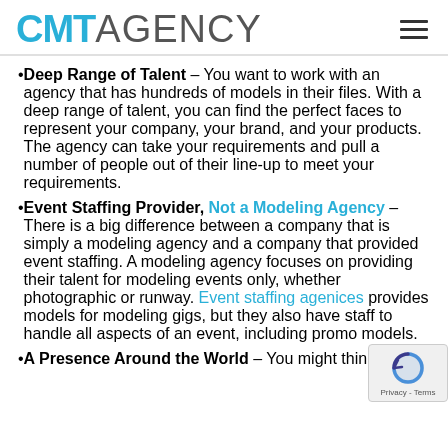CMT AGENCY
Deep Range of Talent – You want to work with an agency that has hundreds of models in their files. With a deep range of talent, you can find the perfect faces to represent your company, your brand, and your products. The agency can take your requirements and pull a number of people out of their line-up to meet your requirements.
Event Staffing Provider, Not a Modeling Agency – There is a big difference between a company that is simply a modeling agency and a company that provided event staffing. A modeling agency focuses on providing their talent for modeling events only, whether photographic or runway. Event staffing agenices provides models for modeling gigs, but they also have staff to handle all aspects of an event, including promo models.
A Presence Around the World – You might think a…